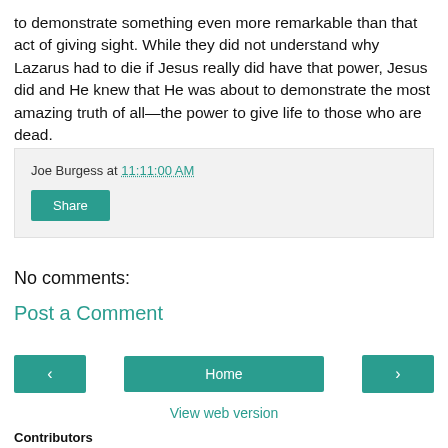to demonstrate something even more remarkable than that act of giving sight. While they did not understand why Lazarus had to die if Jesus really did have that power, Jesus did and He knew that He was about to demonstrate the most amazing truth of all—the power to give life to those who are dead.
Joe Burgess at 11:11:00 AM
Share
No comments:
Post a Comment
‹
Home
›
View web version
Contributors